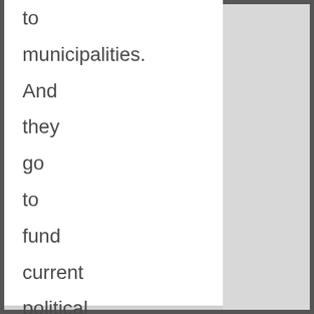to municipalities. And they go to fund current political goals as opposed to maintaining the infrastructure for the production and distribution